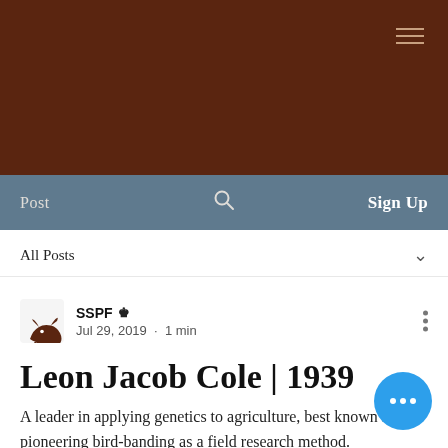[Figure (screenshot): Brown header banner with hamburger menu icon in top right]
Post   Sign Up
All Posts
SSPF  Jul 29, 2019 · 1 min
Leon Jacob Cole | 1939
A leader in applying genetics to agriculture, best known for pioneering bird-banding as a field research method.